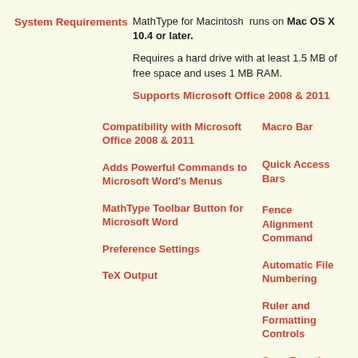System Requirements
MathType for Macintosh runs on Mac OS X 10.4 or later.
Requires a hard drive with at least 1.5 MB of free space and uses 1 MB RAM.
Supports Microsoft Office 2008 & 2011
Compatibility with Microsoft Office 2008 & 2011
Macro Bar
Adds Powerful Commands to Microsoft Word's Menus
Quick Access Bars
MathType Toolbar Button for Microsoft Word
Fence Alignment Command
Preference Settings
Automatic File Numbering
TeX Output
Ruler and Formatting Controls
Save Equations as